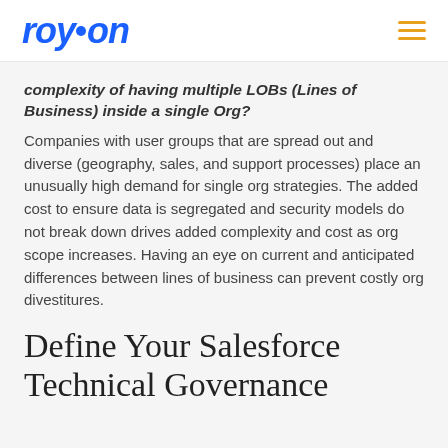roycon
complexity of having multiple LOBs (Lines of Business) inside a single Org?
Companies with user groups that are spread out and diverse (geography, sales, and support processes) place an unusually high demand for single org strategies. The added cost to ensure data is segregated and security models do not break down drives added complexity and cost as org scope increases. Having an eye on current and anticipated differences between lines of business can prevent costly org divestitures.
Define Your Salesforce Technical Governance